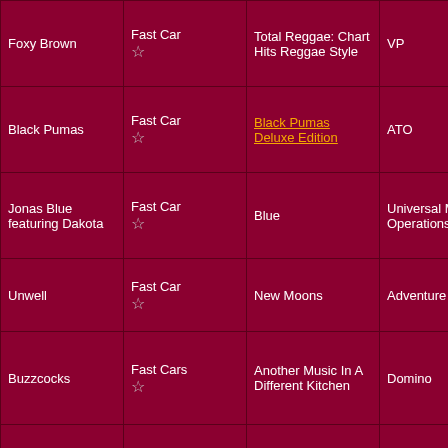| Artist | Song | Album | Label | Year | Format |
| --- | --- | --- | --- | --- | --- |
| Foxy Brown | Fast Car ☆ | Total Reggae: Chart Hits Reggae Style | VP | 2013 | MP3 |
| Black Pumas | Fast Car ☆ | Black Pumas Deluxe Edition | ATO | 2020 | MP3 |
| Jonas Blue featuring Dakota | Fast Car ☆ | Blue | Universal Music Operations Ltd. | 2018 | MP3 |
| Unwell | Fast Car ☆ | New Moons | Adventure Cat | 2021 | MP3 |
| Buzzcocks | Fast Cars ☆ | Another Music In A Different Kitchen | Domino | 2018 | CD |
| Paul Weller | Fast Car / Slow Traffic ☆ | Wake Up The Nation | Yep Roc | 2010 | CD |
|  |  | A Real... |  |  |  |